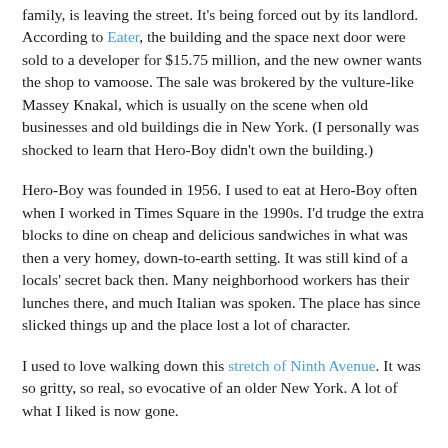family, is leaving the street. It's being forced out by its landlord. According to Eater, the building and the space next door were sold to a developer for $15.75 million, and the new owner wants the shop to vamoose. The sale was brokered by the vulture-like Massey Knakal, which is usually on the scene when old businesses and old buildings die in New York. (I personally was shocked to learn that Hero-Boy didn't own the building.)
Hero-Boy was founded in 1956. I used to eat at Hero-Boy often when I worked in Times Square in the 1990s. I'd trudge the extra blocks to dine on cheap and delicious sandwiches in what was then a very homey, down-to-earth setting. It was still kind of a locals' secret back then. Many neighborhood workers has their lunches there, and much Italian was spoken. The place has since slicked things up and the place lost a lot of character.
I used to love walking down this stretch of Ninth Avenue. It was so gritty, so real, so evocative of an older New York. A lot of what I liked is now gone.